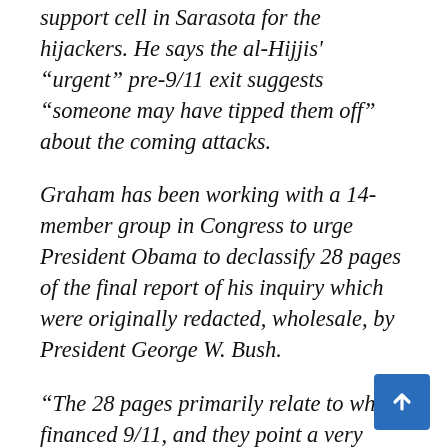support cell in Sarasota for the hijackers. He says the al-Hijjis' “urgent” pre-9/11 exit suggests “someone may have tipped them off” about the coming attacks.
Graham has been working with a 14-member group in Congress to urge President Obama to declassify 28 pages of the final report of his inquiry which were originally redacted, wholesale, by President George W. Bush.
“The 28 pages primarily relate to who financed 9/11, and they point a very strong finger at Saudi Arabia as being the principal financier,” he said, adding, “I am speaking of the kingdom,”